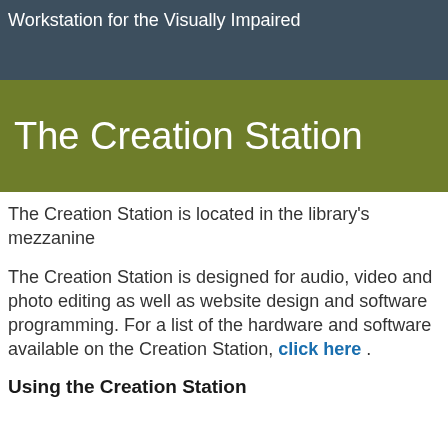Workstation for the Visually Impaired
The Creation Station
The Creation Station is located in the library's mezzanine
The Creation Station is designed for audio, video and photo editing as well as website design and software programming. For a list of the hardware and software available on the Creation Station, click here .
Using the Creation Station